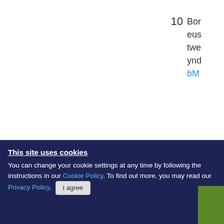10  Bor... eus... twe... ynd... bM...
11  A...
12
[Figure (other): Green vertical 'Need help?' button/tab on right side of page, with a red X close button below it]
This site uses cookies
You can change your cookie settings at any time by following the instructions in our Cookie Policy. To find out more, you may read our Privacy Policy.
I agree